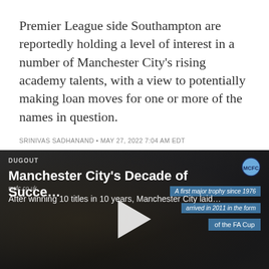Premier League side Southampton are reportedly holding a level of interest in a number of Manchester City's rising academy talents, with a view to potentially making loan moves for one or more of the names in question.
SRINIVAS SADHANAND • MAY 27, 2022 7:04 AM EDT
[Figure (screenshot): Video thumbnail for 'Manchester City's Decade of Succe...' from Dugout / mcfc.co.uk. Shows a dark-toned video player with play button, overlay text badges reading 'A first major trophy since 1976', 'arrived in 2011 in the form', 'of the FA Cup', subtitle 'After winning 10 titles in 10 years, Manchester City laid...']